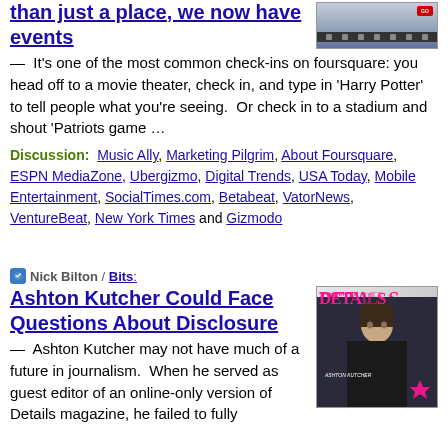than just a place, we now have events
[Figure (screenshot): Screenshot of a website interface with dark navigation bar at bottom]
— It's one of the most common check-ins on foursquare: you head off to a movie theater, check in, and type in 'Harry Potter' to tell people what you're seeing. Or check in to a stadium and shout 'Patriots game …
Discussion: Music Ally, Marketing Pilgrim, About Foursquare, ESPN MediaZone, Ubergizmo, Digital Trends, USA Today, Mobile Entertainment, SocialTimes.com, Betabeat, VatorNews, VentureBeat, New York Times and Gizmodo
Nick Bilton / Bits:
Ashton Kutcher Could Face Questions About Disclosure
[Figure (photo): Magazine cover of Details magazine featuring Ashton Kutcher]
— Ashton Kutcher may not have much of a future in journalism. When he served as guest editor of an online-only version of Details magazine, he failed to fully